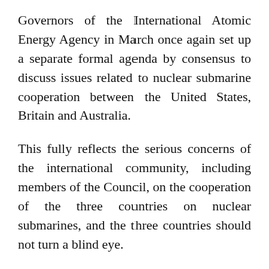Governors of the International Atomic Energy Agency in March once again set up a separate formal agenda by consensus to discuss issues related to nuclear submarine cooperation between the United States, Britain and Australia.
This fully reflects the serious concerns of the international community, including members of the Council, on the cooperation of the three countries on nuclear submarines, and the three countries should not turn a blind eye.
Zhao Lijian said that, as the Chinese representative pointed out at the meeting, the US-UK-Australia nuclear submarine